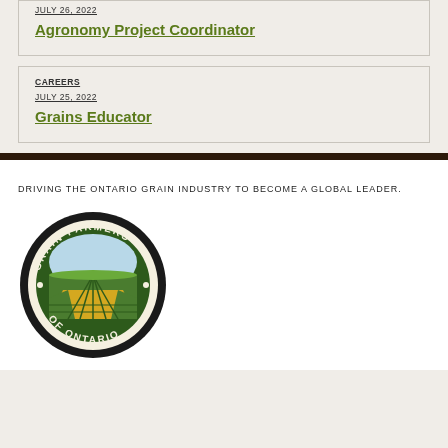JULY 26, 2022
Agronomy Project Coordinator
CAREERS
JULY 25, 2022
Grains Educator
DRIVING THE ONTARIO GRAIN INDUSTRY TO BECOME A GLOBAL LEADER.
[Figure (logo): Grain Farmers of Ontario circular logo with farm field illustration]